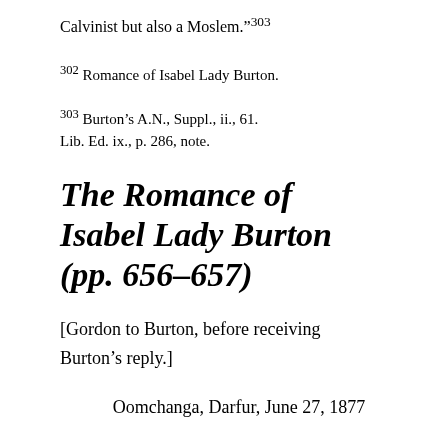Calvinist but also a Moslem.”³⁰³
³⁰² Romance of Isabel Lady Burton.
³⁰³ Burton’s A.N., Suppl., ii., 61. Lib. Ed. ix., p. 286, note.
The Romance of Isabel Lady Burton (pp. 656–657)
[Gordon to Burton, before receiving Burton’s reply.]
Oomchanga, Darfur, June 27, 1877